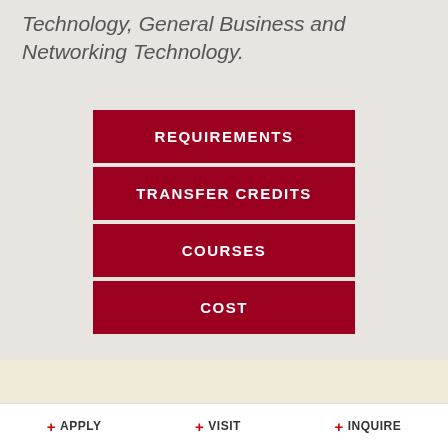Technology, General Business and Networking Technology.
REQUIREMENTS
TRANSFER CREDITS
COURSES
COST
[Figure (infographic): Small golden/yellow geometric shapes (triangle, square, rectangle) icon]
+ APPLY   + VISIT   + INQUIRE